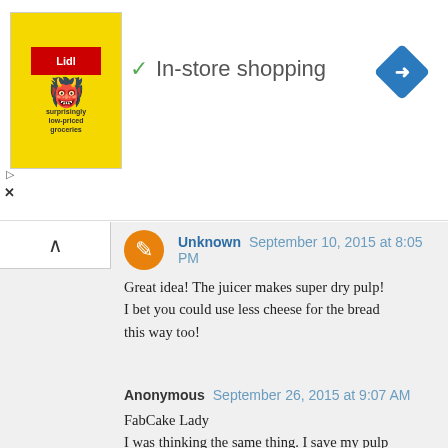[Figure (screenshot): Advertisement banner showing Lidl logo with yellow background, a cartoon monster character, text 'In-store shopping' with checkmark, and a blue navigation diamond icon. Small play and close icons on the left.]
Unknown September 10, 2015 at 8:05 PM
Great idea! The juicer makes super dry pulp! I bet you could use less cheese for the bread this way too!
Anonymous September 26, 2015 at 9:07 AM
FabCake Lady
I was thinking the same thing. I save my pulp for all kinds of things (stock for one) and that made think of the juicer as a method of getting liquid out.
Did you try it? Better did you try both see